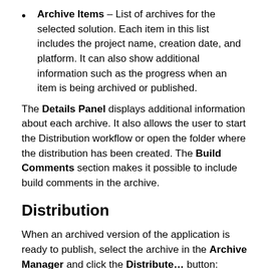Archive Items – List of archives for the selected solution. Each item in this list includes the project name, creation date, and platform. It can also show additional information such as the progress when an item is being archived or published.
The Details Panel displays additional information about each archive. It also allows the user to start the Distribution workflow or open the folder where the distribution has been created. The Build Comments section makes it possible to include build comments in the archive.
Distribution
When an archived version of the application is ready to publish, select the archive in the Archive Manager and click the Distribute... button: